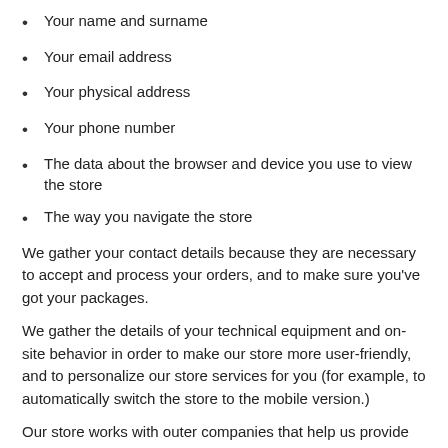Your name and surname
Your email address
Your physical address
Your phone number
The data about the browser and device you use to view the store
The way you navigate the store
We gather your contact details because they are necessary to accept and process your orders, and to make sure you've got your packages.
We gather the details of your technical equipment and on-site behavior in order to make our store more user-friendly, and to personalize our store services for you (for example, to automatically switch the store to the mobile version.)
Our store works with outer companies that help us provide the best service for you, and these third parties also use some of the personal details you're leaving. We limit the data they can